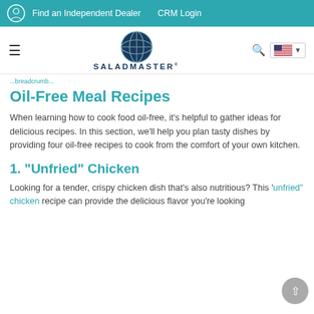Find an Independent Dealer   CRM Login
[Figure (logo): Saladmaster logo with decorative globe icon and brand name SALADMASTER]
...
Oil-Free Meal Recipes
When learning how to cook food oil-free, it's helpful to gather ideas for delicious recipes. In this section, we'll help you plan tasty dishes by providing four oil-free recipes to cook from the comfort of your own kitchen.
1. "Unfried" Chicken
Looking for a tender, crispy chicken dish that's also nutritious? This 'unfried' chicken recipe can provide the delicious flavor you're looking